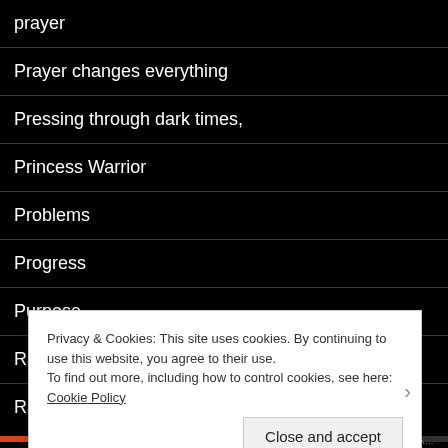prayer
Prayer changes everything
Pressing through dark times,
Princess Warrior
Problems
Progress
Purpose
Rainbow Bridge
Randoms acts of kindness
Privacy & Cookies: This site uses cookies. By continuing to use this website, you agree to their use.
To find out more, including how to control cookies, see here: Cookie Policy
Close and accept